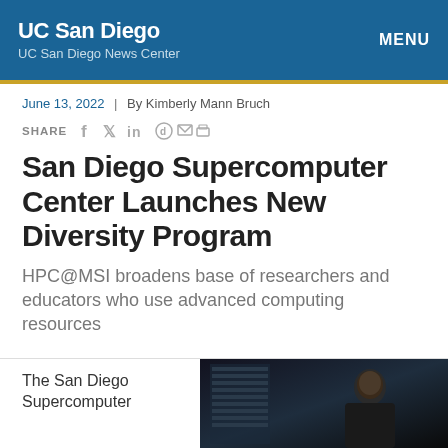UC San Diego | UC San Diego News Center | MENU
June 13, 2022  |  By Kimberly Mann Bruch
SHARE
San Diego Supercomputer Center Launches New Diversity Program
HPC@MSI broadens base of researchers and educators who use advanced computing resources
The San Diego Supercomputer